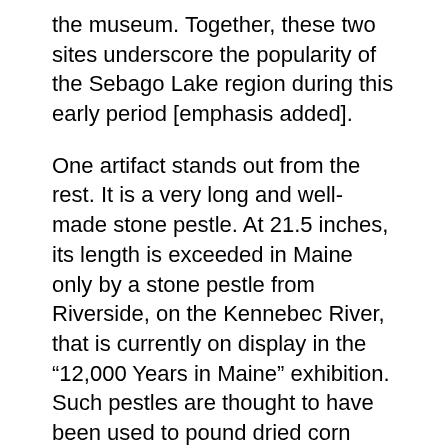the museum. Together, these two sites underscore the popularity of the Sebago Lake region during this early period [emphasis added].
One artifact stands out from the rest. It is a very long and well-made stone pestle. At 21.5 inches, its length is exceeded in Maine only by a stone pestle from Riverside, on the Kennebec River, that is currently on display in the “12,000 Years in Maine” exhibition. Such pestles are thought to have been used to pound dried corn kernels into cornmeal by late prehistoric people, for corn agriculture appears not to have arrived in Maine until a few centuries before Europeans arrived. They are more common to the west and south of Maine where agriculture was practiced during earlier times.
We hope to exhibit the Plummer Collection soon. Thereafter, many of its artifacts will find their way